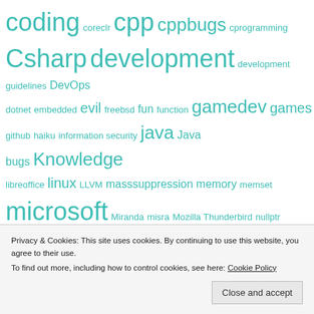[Figure (infographic): Tag cloud with programming-related terms in teal/turquoise color at varying sizes: coding, coreclr, cpp, cppbugs, cprogramming, Csharp, development, development guidelines, DevOps, dotnet, embedded, evil, freebsd, fun, function, gamedev, games, github, haiku, information security, java, Java bugs, Knowledge, libreoffice, linux, LLVM, masssuppression, memory, memset, microsoft, Miranda, misra, Mozilla Thunderbird, nullptr, opensource, OWASP, programming, programming language, PVS-Studio, python, Qt, Quiz, ReactOS, Roslyn, SAST, security, SharpDevelop, software]
Privacy & Cookies: This site uses cookies. By continuing to use this website, you agree to their use.
To find out more, including how to control cookies, see here: Cookie Policy